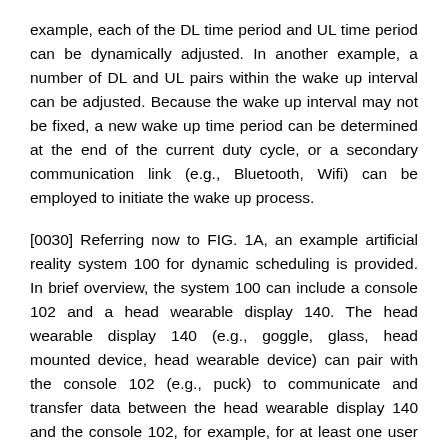example, each of the DL time period and UL time period can be dynamically adjusted. In another example, a number of DL and UL pairs within the wake up interval can be adjusted. Because the wake up interval may not be fixed, a new wake up time period can be determined at the end of the current duty cycle, or a secondary communication link (e.g., Bluetooth, Wifi) can be employed to initiate the wake up process.
[0030] Referring now to FIG. 1A, an example artificial reality system 100 for dynamic scheduling is provided. In brief overview, the system 100 can include a console 102 and a head wearable display 140. The head wearable display 140 (e.g., goggle, glass, head mounted device, head wearable device) can pair with the console 102 (e.g., puck) to communicate and transfer data between the head wearable display 140 and the console 102, for example, for at least one user session for a user of the head wearable display 140. The user session can include a VR experience, AR experience or MR experience via the head wearable display 140. The head